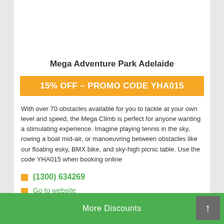Mega Adventure Park Adelaide
15% OFF – PROMO CODE YHA015
With over 70 obstacles available for you to tackle at your own level and speed, the Mega Climb is perfect for anyone wanting a stimulating experience. Imagine playing tennis in the sky, rowing a boat mid-air, or manoeuvring between obstacles like our floating esky, BMX bike, and sky-high picnic table. Use the code YHA015 when booking online
(1300) 634269
Go to website
Must show YHA membership at front desk
More Discounts